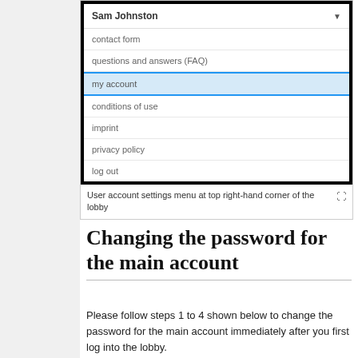[Figure (screenshot): Screenshot of a user account settings dropdown menu showing options: Sam Johnston (header with dropdown arrow), contact form, questions and answers (FAQ), my account (highlighted in blue), conditions of use, imprint, privacy policy, log out]
User account settings menu at top right-hand corner of the lobby
Changing the password for the main account
Please follow steps 1 to 4 shown below to change the password for the main account immediately after you first log into the lobby.